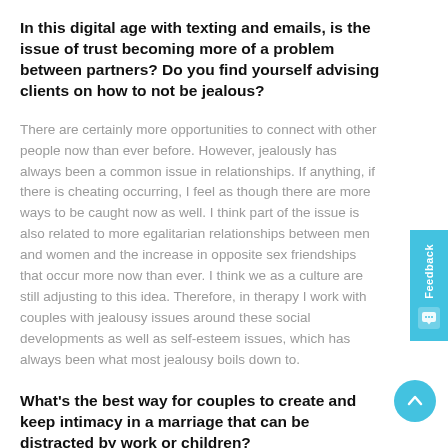In this digital age with texting and emails, is the issue of trust becoming more of a problem between partners? Do you find yourself advising clients on how to not be jealous?
There are certainly more opportunities to connect with other people now than ever before. However, jealously has always been a common issue in relationships. If anything, if there is cheating occurring, I feel as though there are more ways to be caught now as well. I think part of the issue is also related to more egalitarian relationships between men and women and the increase in opposite sex friendships that occur more now than ever. I think we as a culture are still adjusting to this idea. Therefore, in therapy I work with couples with jealousy issues around these social developments as well as self-esteem issues, which has always been what most jealousy boils down to.
What's the best way for couples to create and keep intimacy in a marriage that can be distracted by work or children?
Staying emotionally and physically connected can be challenging in this very demanding world. Ultimately, couples have to learn to prioritize their relationship over work and yes, even children. If the couple-hood isn't